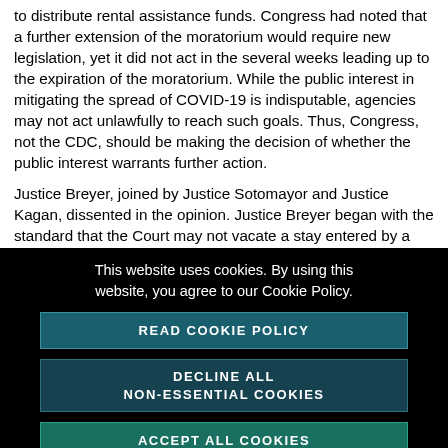to distribute rental assistance funds. Congress had noted that a further extension of the moratorium would require new legislation, yet it did not act in the several weeks leading up to the expiration of the moratorium. While the public interest in mitigating the spread of COVID-19 is indisputable, agencies may not act unlawfully to reach such goals. Thus, Congress, not the CDC, should be making the decision of whether the public interest warrants further action.
Justice Breyer, joined by Justice Sotomayor and Justice Kagan, dissented in the opinion. Justice Breyer began with the standard that the Court may not vacate a stay entered by a lower court unless that court clearly and demonstrably erred in its application of accepted standards. He concluded that it is “far from demonstrably clear” that the CDC does not have the power to issue the new moratorium. He disagreed with the majority that
This website uses cookies. By using this website, you agree to our Cookie Policy.
READ COOKIE POLICY
DECLINE ALL NON-ESSENTIAL COOKIES
ACCEPT ALL COOKIES